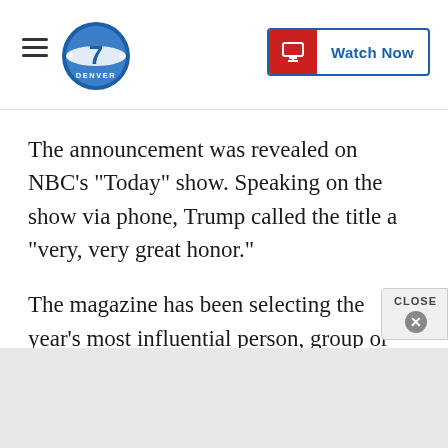Denver 7 — Watch Now
The announcement was revealed on NBC's "Today" show. Speaking on the show via phone, Trump called the title a "very, very great honor."
The magazine has been selecting the year's most influential person, group or idea since 1927. Its choices have included nearly every U.S. president, Adolf Hitler, Ayatollah Khomeini, Mahatma Gandhi and Pope Francis, along with groups like "American women" and "Ebola fighters." The title was chang…